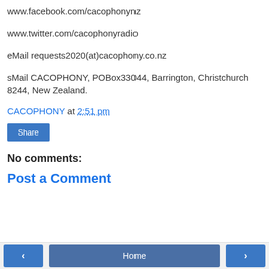www.facebook.com/cacophonynz
www.twitter.com/cacophonyradio
eMail requests2020(at)cacophony.co.nz
sMail CACOPHONY, POBox33044, Barrington, Christchurch 8244, New Zealand.
CACOPHONY at 2:51 pm
Share
No comments:
Post a Comment
< Home >